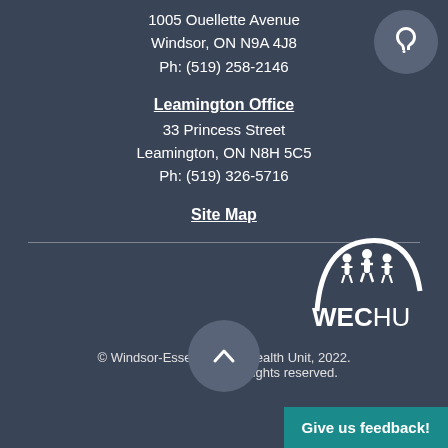1005 Ouellette Avenue
Windsor, ON N9A 4J8
Ph: (519) 258-2146
Leamington Office
33 Princess Street
Leamington, ON N8H 5C5
Ph: (519) 326-5716
Site Map
[Figure (logo): WECHU Windsor-Essex County Health Unit logo with arc of people figures above text WECHU]
© Windsor-Essex County Health Unit, 2022. All rights reserved.
Give us feedback!